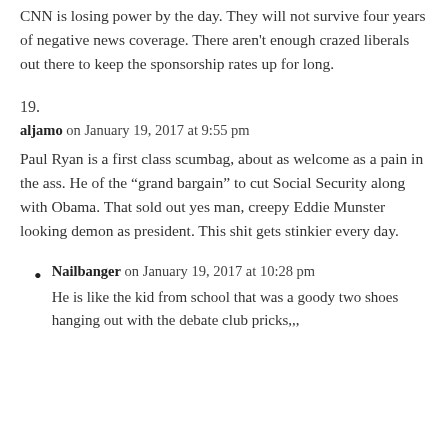CNN is losing power by the day. They will not survive four years of negative news coverage. There aren't enough crazed liberals out there to keep the sponsorship rates up for long.
19.
aljamo on January 19, 2017 at 9:55 pm
Paul Ryan is a first class scumbag, about as welcome as a pain in the ass. He of the “grand bargain” to cut Social Security along with Obama. That sold out yes man, creepy Eddie Munster looking demon as president. This shit gets stinkier every day.
Nailbanger on January 19, 2017 at 10:28 pm
He is like the kid from school that was a goody two shoes hanging out with the debate club pricks,,,